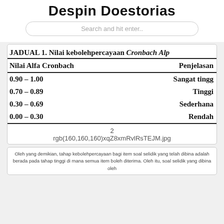Despin Doestorias
Search and hit enter..
JADUAL 1. Nilai kebolehpercayaan Cronbach Alpha
| Nilai Alfa Cronbach | Penjelasan |
| --- | --- |
| 0.90 – 1.00 | Sangat tinggi |
| 0.70 – 0.89 | Tinggi |
| 0.30 – 0.69 | Sederhana |
| 0.00 – 0.30 | Rendah |
2
rgb(160,160,160)xqZ8xmRvlRsTEJM.jpg
Oleh yang demikian, tahap kebolehpercayaan bagi item soal selidik yang telah dibina adalah berada pada tahap tinggi di mana semua item boleh diterima. Oleh itu, soal selidik yang dibina oleh